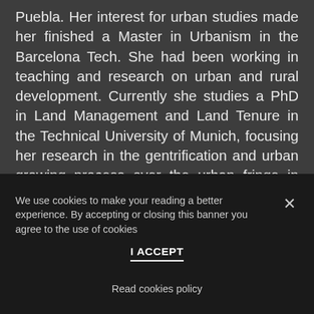Puebla. Her interest for urban studies made her finished a Master in Urbanism in the Barcelona Tech. She had been working in teaching and research on urban and rural development. Currently she studies a PhD in Land Management and Land Tenure in the Technical University of Munich, focusing her research in the gentrification and urban growing process over the urban fringe in Mexico.
We use cookies to make your reading a better experience. By accepting or closing this banner you agree to the use of cookies
I ACCEPT
Read cookies policy